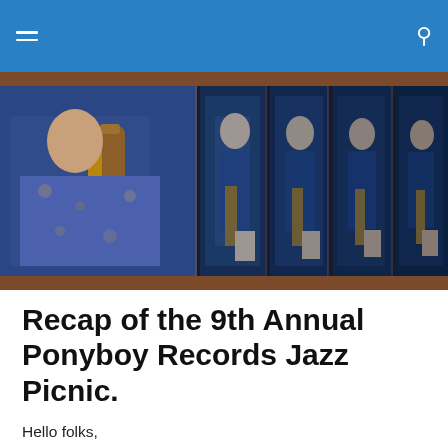Navigation bar with hamburger menu and search icon
[Figure (photo): Jazz musicians playing instruments — a bassist in a floral shirt on the left and multiple overlapping images of a guitarist/bassist in blue light on the right]
Recap of the 9th Annual Ponyboy Records Jazz Picnic.
Hello folks,
It was great to see those of you who attended the 9th Annual Ponyboy Records Jazz Picnic.  Hop on over to the Ponyboy Facebook Page and start bugging Greg to